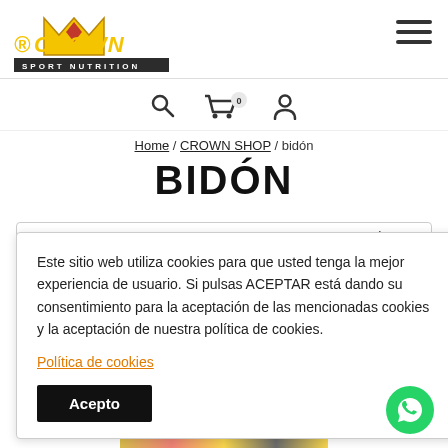[Figure (logo): Crown Sport Nutrition logo with gold text and red diamond]
[Figure (illustration): Hamburger menu icon (three horizontal lines)]
[Figure (illustration): Navigation icons: search magnifier, shopping cart with badge showing 0, user/account icon]
Home / CROWN SHOP / bidón
BIDÓN
Este sitio web utiliza cookies para que usted tenga la mejor experiencia de usuario. Si pulsas ACEPTAR está dando su consentimiento para la aceptación de las mencionadas cookies y la aceptación de nuestra política de cookies.
Política de cookies
Acepto